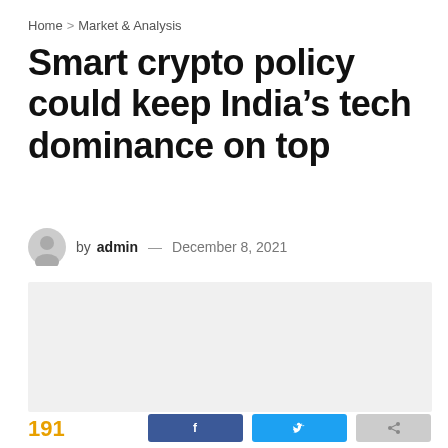Home > Market & Analysis
Smart crypto policy could keep India’s tech dominance on top
by admin — December 8, 2021
[Figure (photo): Gray placeholder image for article]
191